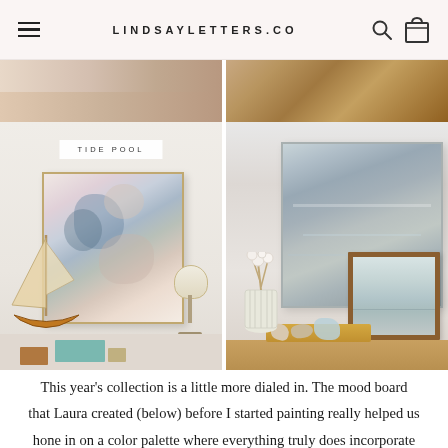LINDSAYLETTERS.CO
[Figure (photo): Top row: two partial room/interior photos — left shows soft neutral fabric/curtain scene, right shows wood grain surface.]
[Figure (photo): Bottom left: interior photo of abstract floral/watercolor painting 'TIDE POOL' displayed on wall above a shelf with a decorative sailboat model, lamp, and coastal accessories. Bottom right: coastal abstract painting leaning on a wooden shelf with white ceramic vase, flowers, seashells, and a smaller framed nautical artwork.]
This year's collection is a little more dialed in. The mood board that Laura created (below) before I started painting really helped us hone in on a color palette where everything truly does incorporate seamlessly together. It's meant to